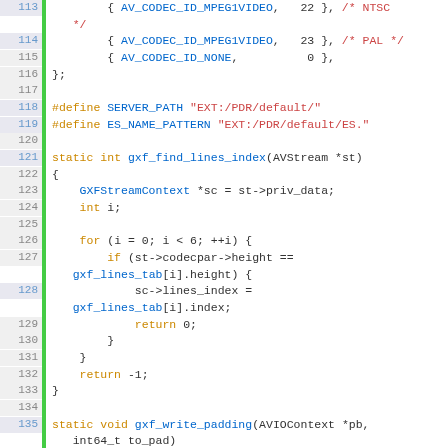Source code listing lines 113-142, C code for GXF muxer in FFmpeg
113: { AV_CODEC_ID_MPEG1VIDEO, 22 }, /* NTSC */
114: { AV_CODEC_ID_MPEG1VIDEO, 23 }, /* PAL */
115: { AV_CODEC_ID_NONE, 0 },
116: };
117: (blank)
118: #define SERVER_PATH "EXT:/PDR/default/"
119: #define ES_NAME_PATTERN "EXT:/PDR/default/ES."
120: (blank)
121: static int gxf_find_lines_index(AVStream *st)
122: {
123:     GXFStreamContext *sc = st->priv_data;
124:     int i;
125: (blank)
126:     for (i = 0; i < 6; ++i) {
127:         if (st->codecpar->height == gxf_lines_tab[i].height) {
128:             sc->lines_index = gxf_lines_tab[i].index;
129:             return 0;
130:         }
131:     }
132:     return -1;
133: }
134: (blank)
135: static void gxf_write_padding(AVIOContext *pb, int64_t to_pad)
136: {
137:     ffio_fill(pb, 0, to_pad);
138: }
139: (blank)
140: static int64_t updatePacketSize(AVIOContext *pb, int64_t pos)
141: {
142:     int64_t curpos;